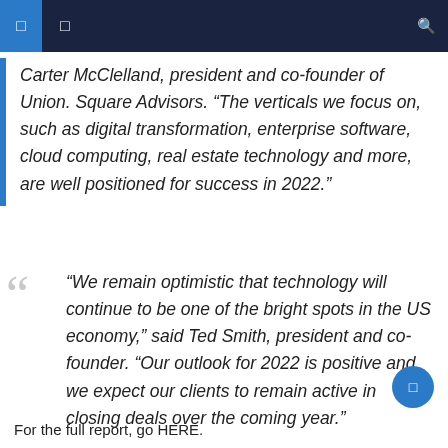Carter McClelland, president and co-founder of Union. Square Advisors. “The verticals we focus on, such as digital transformation, enterprise software, cloud computing, real estate technology and more, are well positioned for success in 2022.”
“We remain optimistic that technology will continue to be one of the bright spots in the US economy,” said Ted Smith, president and co-founder. “Our outlook for 2022 is positive and we expect our clients to remain active in closing deals over the coming year.”
For the full report, go HERE.